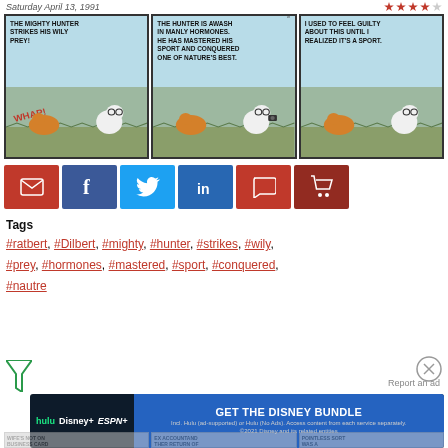Saturday April 13, 1991
[Figure (illustration): Dilbert comic strip with three panels. Panel 1: 'THE MIGHTY HUNTER STRIKES HIS WILY PREY!' Panel 2: 'THE HUNTER IS AWASH IN MANLY HORMONES. HE HAS MASTERED HIS SPORT AND CONQUERED ONE OF NATURE'S BEST.' Panel 3: 'I USED TO FEEL GUILTY ABOUT THIS UNTIL I REALIZED IT'S A SPORT.']
[Figure (infographic): Social sharing buttons: email (red), Facebook (blue), Twitter (light blue), LinkedIn (blue), comment (red), cart (dark red)]
Tags
#ratbert, #Dilbert, #mighty, #hunter, #strikes, #wily, #prey, #hormones, #mastered, #sport, #conquered, #nautre
View Transcript
[Figure (infographic): Advertisement banner: Hulu Disney+ ESPN+ GET THE DISNEY BUNDLE. Incl. Hulu (ad-supported) or Hulu (No Ads). Access content from each service separately. ©2021 Disney and its related entities]
Report an ad